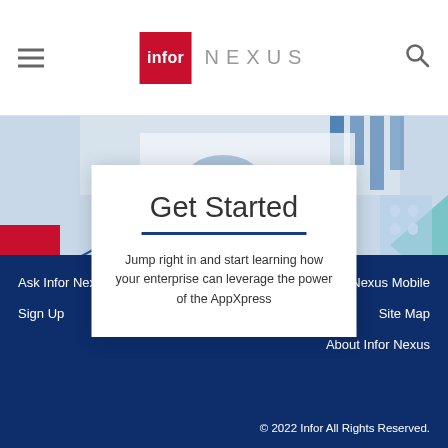[Figure (logo): Infor Nexus logo with red square containing 'infor' text and 'NEXUS' text to the right]
[Figure (illustration): Background hero illustration with abstract supply chain/logistics graphics in blue, red, teal colors showing buildings, packages, and geometric shapes]
Get Started
Jump right in and start learning how your enterprise can leverage the power of the AppXpress
Ask Infor Nexus   Sign Up   Get Infor Nexus Mobile   Site Map   About Infor Nexus   © 2022 Infor All Rights Reserved.